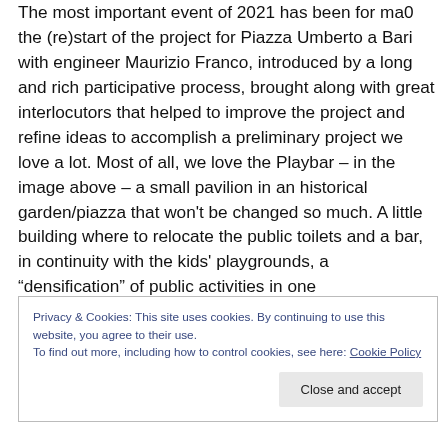The most important event of 2021 has been for ma0 the (re)start of the project for Piazza Umberto a Bari with engineer Maurizio Franco, introduced by a long and rich participative process, brought along with great interlocutors that helped to improve the project and refine ideas to accomplish a preliminary project we love a lot. Most of all, we love the Playbar – in the image above – a small pavilion in an historical garden/piazza that won't be changed so much. A little building where to relocate the public toilets and a bar, in continuity with the kids' playgrounds, a “densification” of public activities in one
Privacy & Cookies: This site uses cookies. By continuing to use this website, you agree to their use.
To find out more, including how to control cookies, see here: Cookie Policy